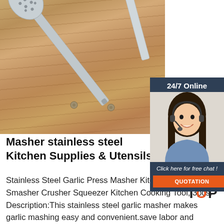[Figure (photo): Stainless steel kitchen skimmer/slotted spoon lying on a wooden surface, with another utensil handle visible in the upper right corner.]
[Figure (photo): 24/7 Online chat widget showing a smiling woman with a headset, with text 'Click here for free chat!' and an orange QUOTATION button.]
Masher stainless steel Kitchen Supplies & Utensils
Stainless Steel Garlic Press Masher Kitchen Garlic Smasher Crusher Squeezer Kitchen Cooking Tool, 3pcs. Description:This stainless steel garlic masher makes garlic mashing easy and convenient.save labor and time.is